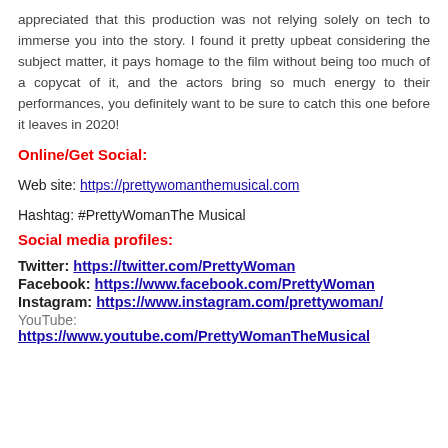appreciated that this production was not relying solely on tech to immerse you into the story. I found it pretty upbeat considering the subject matter, it pays homage to the film without being too much of a copycat of it, and the actors bring so much energy to their performances, you definitely want to be sure to catch this one before it leaves in 2020!
Online/Get Social:
Web site: https://prettywomanthemusical.com
Hashtag: #PrettyWomanThe Musical
Social media profiles:
Twitter: https://twitter.com/PrettyWoman
Facebook: https://www.facebook.com/PrettyWoman
Instagram: https://www.instagram.com/prettywoman/
YouTube: https://www.youtube.com/PrettyWomanTheMusical